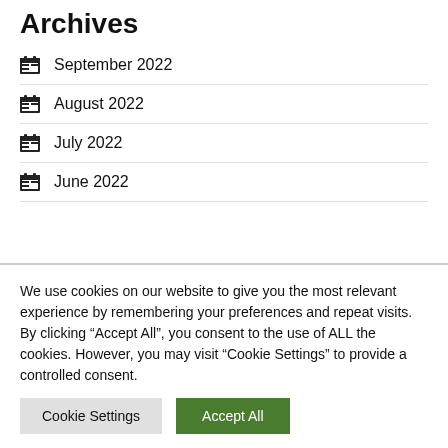Archives
September 2022
August 2022
July 2022
June 2022
We use cookies on our website to give you the most relevant experience by remembering your preferences and repeat visits. By clicking “Accept All”, you consent to the use of ALL the cookies. However, you may visit "Cookie Settings" to provide a controlled consent.
Cookie Settings | Accept All